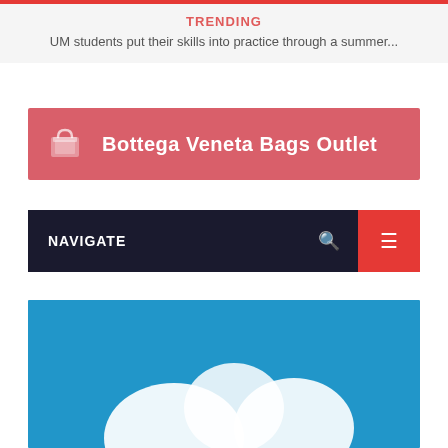TRENDING
UM students put their skills into practice through a summer...
[Figure (other): Advertisement banner for Bottega Veneta Bags Outlet with handbag icon]
[Figure (other): Navigation bar with NAVIGATE label, search icon, and red menu button]
[Figure (photo): Blue background with white blurred shapes, appears to be a teaser image]